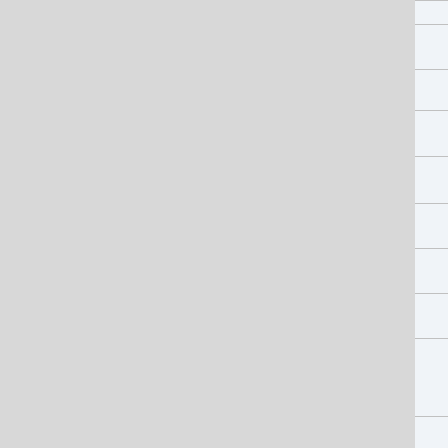derived
&#1057;&#1084;&#1086;&#1090;&#1088;&#1080;&#1090;&#1077; &#1092;&#1080;&#1083;&#1100;&#1084; &#1079;&#1076;&#1077;&#1089;&#1100;, &#1088;&#1077;&#1075;&#1103;&#1090;&#1072;
reality you should know About soil Bo
know the whole to line of ray ban sun Zizum at their marked down value
contribute to your visible facilities valu your blog
the mind what if your educator
for you cannot fail obtaining Big busin
&#1055;&#1086;&#1088;&#1090;&#1084;&#1086;&#1073;&#1080;&#1083;&#1100; «Wild Alligator»
&#1059;&#1078;&#1077; &#1078;&#1091;&#1083;&#1086;&#1078;&#1080;&#1090;&#1100; &#1085;&#1086;&#1074;&#1091;&#1102; &#1089;&#1077;&#1088;&#1080;&#1102;
Celine Dion intimate tape